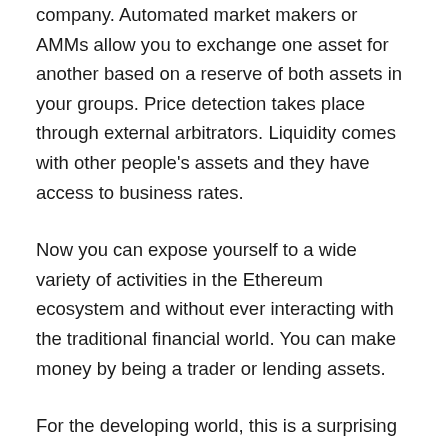company. Automated market makers or AMMs allow you to exchange one asset for another based on a reserve of both assets in your groups. Price detection takes place through external arbitrators. Liquidity comes with other people's assets and they have access to business rates.
Now you can expose yourself to a wide variety of activities in the Ethereum ecosystem and without ever interacting with the traditional financial world. You can make money by being a trader or lending assets.
For the developing world, this is a surprising